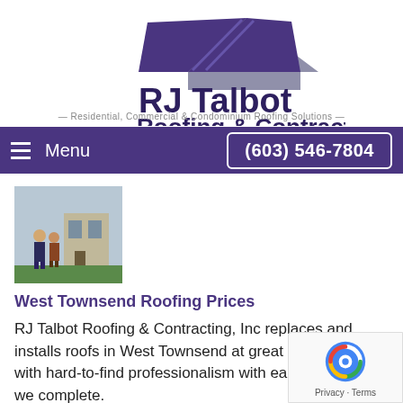[Figure (logo): RJ Talbot Roofing & Contracting logo with house roof icon in purple and grey, text below: Residential, Commercial & Condominium Roofing Solutions]
Menu
(603) 546-7804
[Figure (photo): Small thumbnail photo of two people standing outside a building]
West Townsend Roofing Prices
RJ Talbot Roofing & Contracting, Inc replaces and installs roofs in West Townsend at great pricing and with hard-to-find professionalism with each roofing job we complete.
Get a Price
Name
[Figure (other): reCAPTCHA badge with spinning logo and Privacy - Terms text]